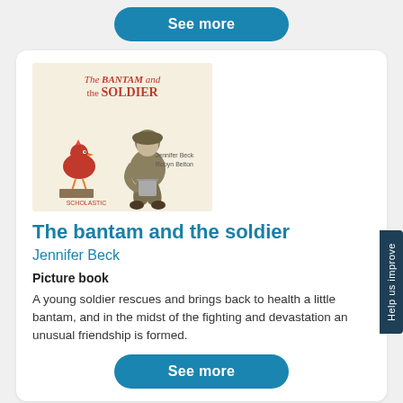[Figure (other): A 'See more' button at the top of the page, teal/blue rounded pill button]
[Figure (illustration): Book cover of 'The Bantam and the Soldier' showing a red chicken and a soldier sitting hunched, with authors Jennifer Beck and Robyn Belton, Scholastic publisher]
The bantam and the soldier
Jennifer Beck
Picture book
A young soldier rescues and brings back to health a little bantam, and in the midst of the fighting and devastation an unusual friendship is formed.
[Figure (other): A 'See more' button at the bottom of the card, teal/blue rounded pill button]